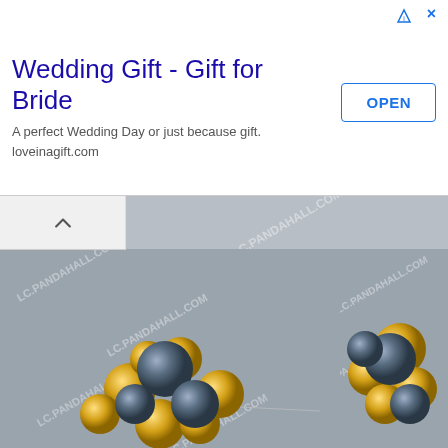[Figure (photo): Advertisement banner: Wedding Gift - Gift for Bride. Text: A perfect Wedding Day or just because gift. loveinagift.com. With an OPEN button.]
[Figure (photo): LC.PANDAHALL.COM watermarked photo grid showing beaded jewelry craft steps — gold and gray/dark blue pearl beads being assembled into a cluster ring or brooch. Four image panels showing progressive assembly stages.]